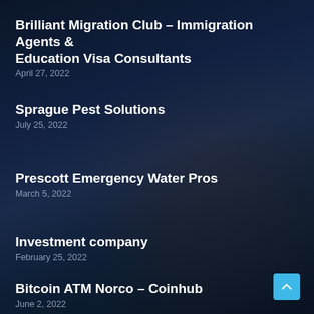Brilliant Migration Club – Immigration Agents & Education Visa Consultants
April 27, 2022
Sprague Pest Solutions
July 25, 2022
Prescott Emergency Water Pros
March 5, 2022
Investment company
February 25, 2022
Bitcoin ATM Norco – Coinhub
June 2, 2022